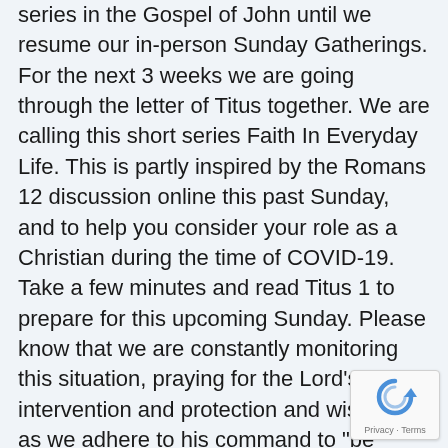series in the Gospel of John until we resume our in-person Sunday Gatherings. For the next 3 weeks we are going through the letter of Titus together. We are calling this short series Faith In Everyday Life. This is partly inspired by the Romans 12 discussion online this past Sunday, and to help you consider your role as a Christian during the time of COVID-19. Take a few minutes and read Titus 1 to prepare for this upcoming Sunday. Please know that we are constantly monitoring this situation, praying for the Lord's intervention and protection and wisdom, as we adhere to his command to "be subject to the governing authorities" (Romans 13:1).
[Figure (other): reCAPTCHA widget with Privacy and Terms text]